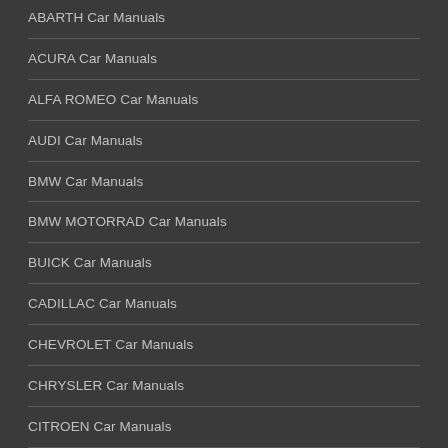ABARTH Car Manuals
ACURA Car Manuals
ALFA ROMEO Car Manuals
AUDI Car Manuals
BMW Car Manuals
BMW MOTORRAD Car Manuals
BUICK Car Manuals
CADILLAC Car Manuals
CHEVROLET Car Manuals
CHRYSLER Car Manuals
CITROEN Car Manuals